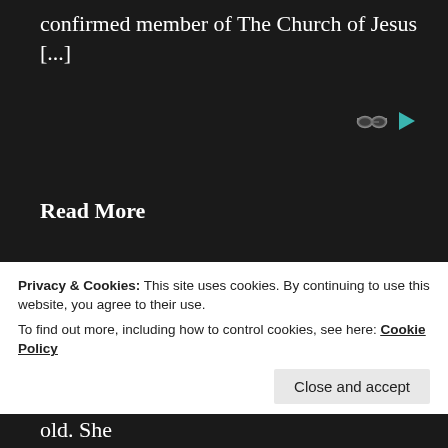confirmed member of The Church of Jesus [...]
[Figure (other): Two small icons: a grey glasses/reader icon and a teal play button icon]
Read More
THIS DAY IN OUR FAMILY
Privacy & Cookies: This site uses cookies. By continuing to use this website, you agree to their use.
To find out more, including how to control cookies, see here: Cookie Policy
Close and accept
Sperry and Caroline Webb, both 40 years old. She